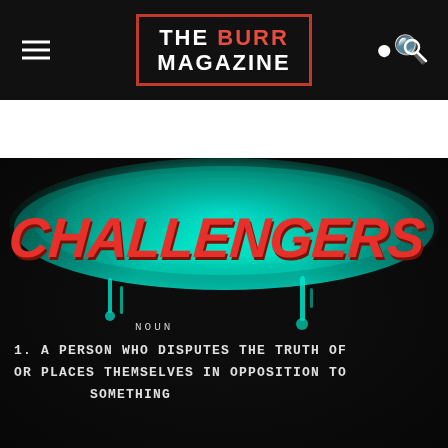THE BURR MAGAZINE
[Figure (illustration): Graffiti-style artwork on dark background with cyan spray paint glow effect. The word CHALLENGERS is written in large red graffiti lettering with dark outline. Below it reads: NOUN / 1. A PERSON WHO DISPUTES THE TRUTH OF / OR PLACES THEMSELVES IN OPPOSITION TO / SOMETHING]
NOUN
1. A PERSON WHO DISPUTES THE TRUTH OF OR PLACES THEMSELVES IN OPPOSITION TO SOMETHING